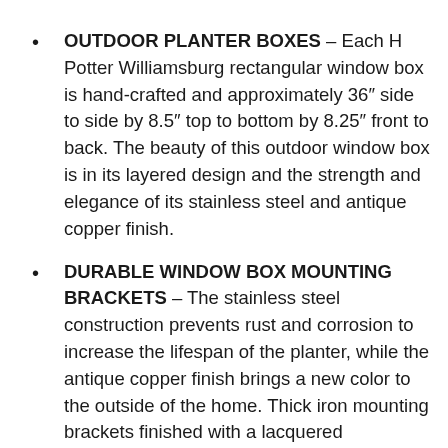OUTDOOR PLANTER BOXES – Each H Potter Williamsburg rectangular window box is hand-crafted and approximately 36″ side to side by 8.5″ top to bottom by 8.25″ front to back. The beauty of this outdoor window box is in its layered design and the strength and elegance of its stainless steel and antique copper finish.
DURABLE WINDOW BOX MOUNTING BRACKETS – The stainless steel construction prevents rust and corrosion to increase the lifespan of the planter, while the antique copper finish brings a new color to the outside of the home. Thick iron mounting brackets finished with a lacquered...